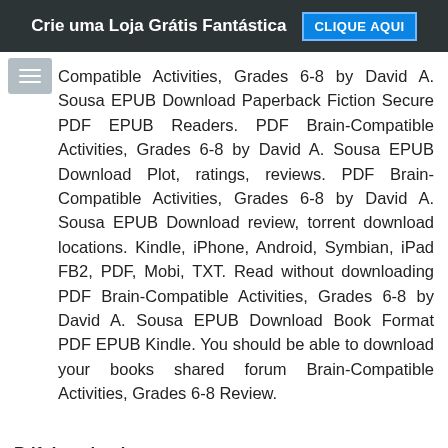Crie uma Loja Grátis Fantástica  CLIQUE AQUI
Compatible Activities, Grades 6-8 by David A. Sousa EPUB Download Paperback Fiction Secure PDF EPUB Readers. PDF Brain-Compatible Activities, Grades 6-8 by David A. Sousa EPUB Download Plot, ratings, reviews. PDF Brain-Compatible Activities, Grades 6-8 by David A. Sousa EPUB Download review, torrent download locations. Kindle, iPhone, Android, Symbian, iPad FB2, PDF, Mobi, TXT. Read without downloading PDF Brain-Compatible Activities, Grades 6-8 by David A. Sousa EPUB Download Book Format PDF EPUB Kindle. You should be able to download your books shared forum Brain-Compatible Activities, Grades 6-8 Review.
Pdf downloads:
Free kindle books download forum The Complete Idiot's